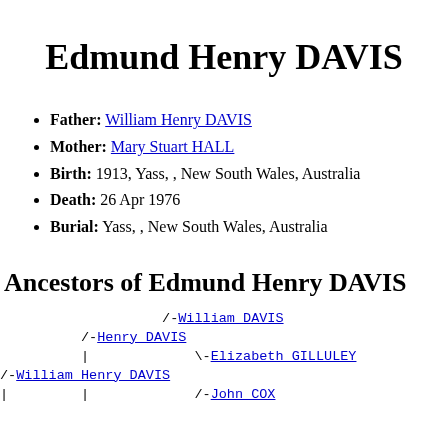Edmund Henry DAVIS
Father: William Henry DAVIS
Mother: Mary Stuart HALL
Birth: 1913, Yass, , New South Wales, Australia
Death: 26 Apr 1976
Burial: Yass, , New South Wales, Australia
Ancestors of Edmund Henry DAVIS
/-William DAVIS
/-Henry DAVIS
|               \-Elizabeth GILLULEY
/-William Henry DAVIS
|               /-John COX